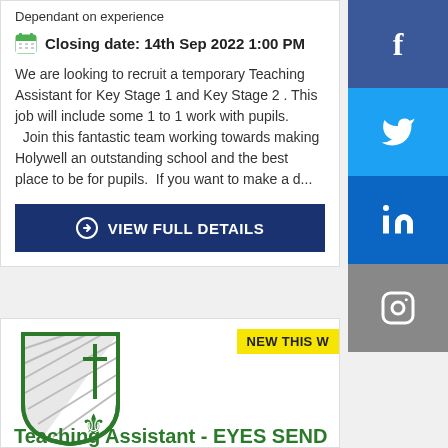Dependant on experience
Closing date: 14th Sep 2022 1:00 PM
We are looking to recruit a temporary Teaching Assistant for Key Stage 1 and Key Stage 2 . This job will include some 1 to 1 work with pupils.   Join this fantastic team working towards making Holywell an outstanding school and the best place to be for pupils.  If you want to make a d...
VIEW FULL DETAILS
[Figure (logo): Green heraldic shield logo with cross, fleur-de-lis and diagonal stripe motif]
NEW THIS W
Teaching Assistant - EYES SEND